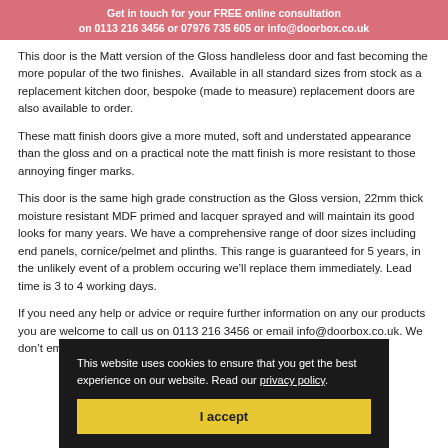Get in touch for your FREE online consultation on 0113 216 3456 or 07976 735 605 or info@doorbox.co.uk
This door is the Matt version of the Gloss handleless door and fast becoming the more popular of the two finishes. Available in all standard sizes from stock as a replacement kitchen door, bespoke (made to measure) replacement doors are also available to order.
These matt finish doors give a more muted, soft and understated appearance than the gloss and on a practical note the matt finish is more resistant to those annoying finger marks.
This door is the same high grade construction as the Gloss version, 22mm thick moisture resistant MDF primed and lacquer sprayed and will maintain its good looks for many years. We have a comprehensive range of door sizes including end panels, cornice/pelmet and plinths. This range is guaranteed for 5 years, in the unlikely event of a problem occuring we'll replace them immediately. Lead time is 3 to 4 working days.
If you need any help or advice or require further information on any our products you are welcome to call us on 0113 216 3456 or email info@doorbox.co.uk. We don't employ
This website uses cookies to ensure that you get the best experience on our website. Read our privacy policy.